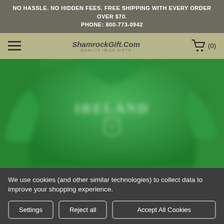NO HASSLE. NO HIDDEN FEES. FREE SHIPPING WITH EVERY ORDER OVER $70. PHONE: 800-773-0942
[Figure (screenshot): Navigation bar with hamburger menu, ShamrockGift.Com logo (Quality Irish Gifts), and shopping cart icon showing (0) items, on an olive/khaki background.]
[Figure (photo): Green hoodie sweatshirt with 'IRELAND' text and a shield crest logo on the chest, blurred product photo on green background.]
We use cookies (and other similar technologies) to collect data to improve your shopping experience.
Settings | Reject all | Accept All Cookies